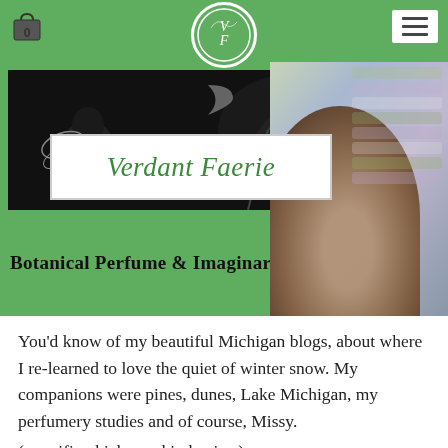Verdant Faerie — Botanical Perfume & Imaginarium (website header/navigation)
[Figure (screenshot): Verdant Faerie website header with green navigation bar, circular VF logo, cart icon, hamburger menu, black-and-white fairy illustration banner, white text box with 'Verdant Faerie' in green italic script, and subtitle 'Botanical Perfume & Imaginarium' in bold on green background. Right side shows a blurred photo of a person wearing a colorful knit hat.]
You'd know of my beautiful Michigan blogs, about where I re-learned to love the quiet of winter snow.  My companions were pines, dunes, Lake Michigan, my perfumery studies and of course, Missy.
(no wifi, which was kinda nice.)